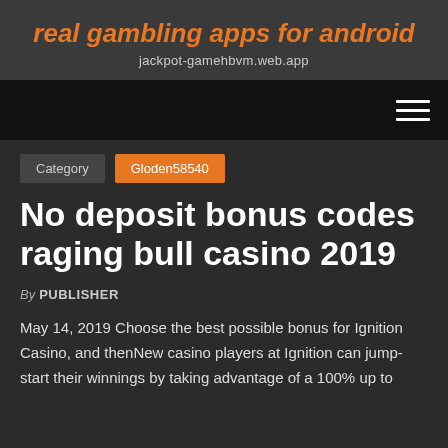real gambling apps for android
jackpot-gamehbvm.web.app
Category  Gloden58540
No deposit bonus codes raging bull casino 2019
By PUBLISHER
May 14, 2019 Choose the best possible bonus for Ignition Casino, and thenNew casino players at Ignition can jump-start their winnings by taking advantage of a 100% up to